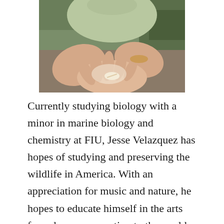[Figure (photo): Close-up photograph of a person in a light green shirt holding something small in their outstretched palm, outdoors with foliage in the background.]
Currently studying biology with a minor in marine biology and chemistry at FIU, Jesse Velazquez has hopes of studying and preserving the wildlife in America. With an appreciation for music and nature, he hopes to educate himself in the arts for a deeper connection to the world. Always open to learn, Jesse enjoys creative conversation about